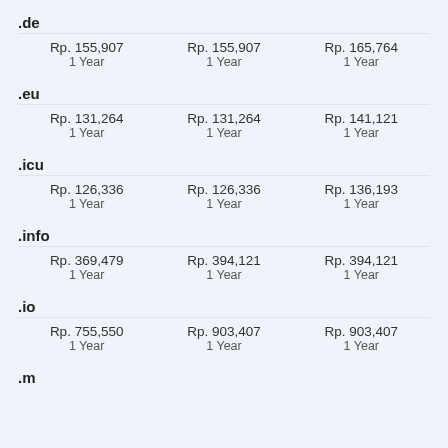.de
| Rp. 155,907
1 Year | Rp. 155,907
1 Year | Rp. 165,764
1 Year |
.eu
| Rp. 131,264
1 Year | Rp. 131,264
1 Year | Rp. 141,121
1 Year |
.icu
| Rp. 126,336
1 Year | Rp. 126,336
1 Year | Rp. 136,193
1 Year |
.info
| Rp. 369,479
1 Year | Rp. 394,121
1 Year | Rp. 394,121
1 Year |
.io
| Rp. 755,550
1 Year | Rp. 903,407
1 Year | Rp. 903,407
1 Year |